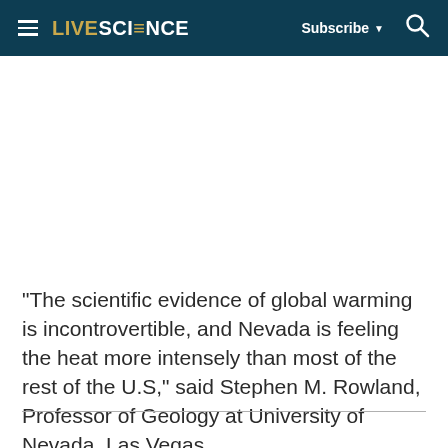LIVESCIENCE   Subscribe   Search
"The scientific evidence of global warming is incontrovertible, and Nevada is feeling the heat more intensely than most of the rest of the U.S," said Stephen M. Rowland, Professor of Geology at University of Nevada, Las Vegas.